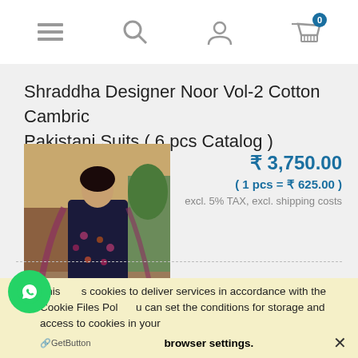Navigation bar with menu, search, account and cart (0 items) icons
Shraddha Designer Noor Vol-2 Cotton Cambric Pakistani Suits ( 6 pcs Catalog )
[Figure (photo): A woman wearing a dark navy/purple Pakistani suit with floral embroidery and dupatta]
₹ 3,750.00
( 1 pcs = ₹ 625.00 )
excl. 5% TAX, excl. shipping costs
This uses cookies to deliver services in accordance with the Cookie Files Policy. You can set the conditions for storage and access to cookies in your browser settings.